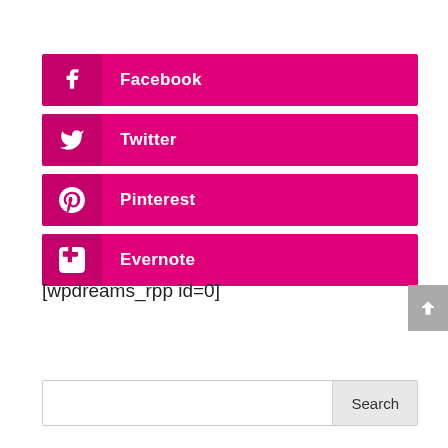Facebook
Twitter
Pinterest
Evernote
[wpdreams_rpp id=0]
Search